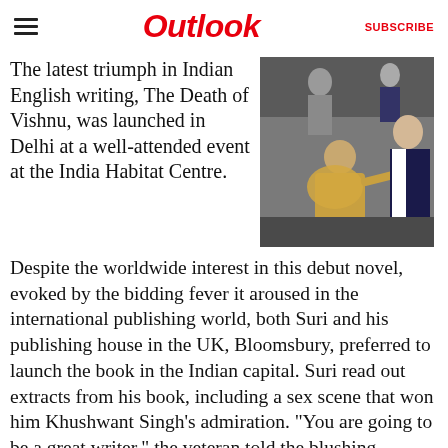Outlook | SUBSCRIBE
The latest triumph in Indian English writing, The Death of Vishnu, was launched in Delhi at a well-attended event at the India Habitat Centre.
[Figure (photo): Photo of people at a book launch event, including an elderly person seated and a man in a suit standing beside them.]
Despite the worldwide interest in this debut novel, evoked by the bidding fever it aroused in the international publishing world, both Suri and his publishing house in the UK, Bloomsbury, preferred to launch the book in the Indian capital. Suri read out extracts from his book, including a sex scene that won him Khushwant Singh's admiration. "You are going to be a great writer," the veteran told the blushing debutant. "I can feel it in my bones."
[Figure (photo): Partial photo at the bottom of the page, cropped.]
It was a favourable mahurat to